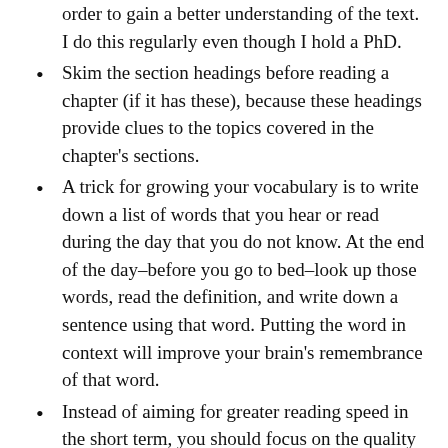order to gain a better understanding of the text. I do this regularly even though I hold a PhD.
Skim the section headings before reading a chapter (if it has these), because these headings provide clues to the topics covered in the chapter's sections.
A trick for growing your vocabulary is to write down a list of words that you hear or read during the day that you do not know. At the end of the day–before you go to bed–look up those words, read the definition, and write down a sentence using that word. Putting the word in context will improve your brain's remembrance of that word.
Instead of aiming for greater reading speed in the short term, you should focus on the quality of your reading. Consider this analogy from weight training: Before you begin lifting